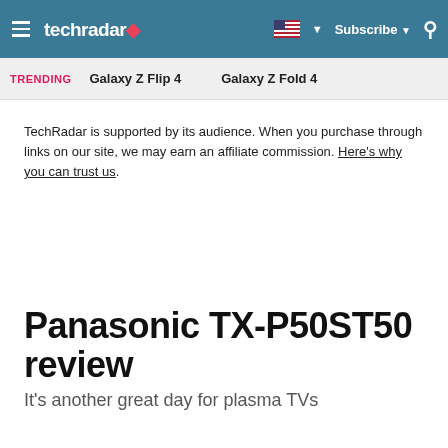techradar
TRENDING   Galaxy Z Flip 4   Galaxy Z Fold 4
TechRadar is supported by its audience. When you purchase through links on our site, we may earn an affiliate commission. Here's why you can trust us.
Panasonic TX-P50ST50 review
It's another great day for plasma TVs